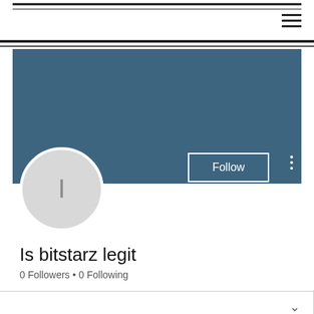[Figure (screenshot): Website profile page header with navigation bar showing hamburger menu icon, teal/steel-blue banner background, circular avatar placeholder with letter I, Follow button, and three-dots menu]
Is bitstarz legit
0 Followers • 0 Following
Profile
Join date: Jun 19, 2022